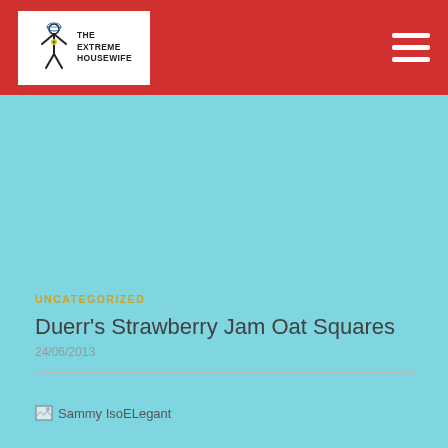The Extreme Housewife
UNCATEGORIZED
Duerr's Strawberry Jam Oat Squares
24/06/2013
[Figure (photo): Broken image placeholder labeled 'Sammy IsoELegant']